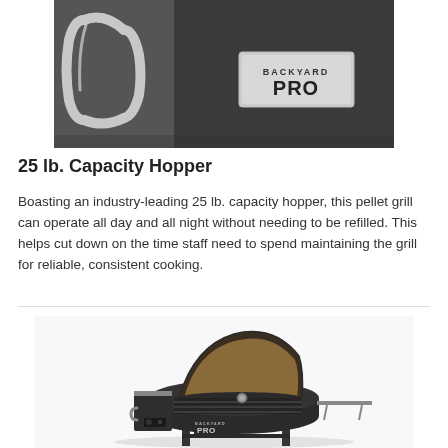[Figure (photo): Close-up photo of a stainless steel handle and Backyard Pro branded plate on a dark pellet grill surface]
25 lb. Capacity Hopper
Boasting an industry-leading 25 lb. capacity hopper, this pellet grill can operate all day and all night without needing to be refilled. This helps cut down on the time staff need to spend maintaining the grill for reliable, consistent cooking.
[Figure (photo): Full product photo of a Backyard Pro pellet grill with open lid, showing the interior grates, side shelves, and Backyard Pro branding on the front]